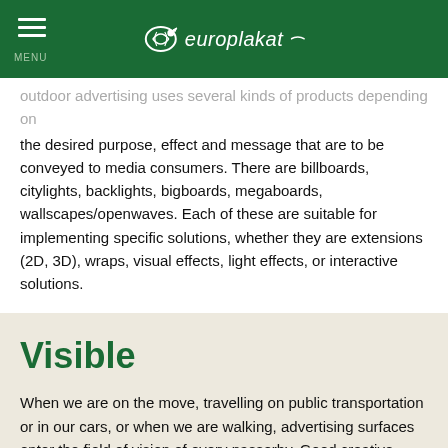MENU | europlakat
...outdoor advertising uses several kinds of products depending on the desired purpose, effect and message that are to be conveyed to media consumers. There are billboards, citylights, backlights, bigboards, megaboards, wallscapes/openwaves. Each of these are suitable for implementing specific solutions, whether they are extensions (2D, 3D), wraps, visual effects, light effects, or interactive solutions.
Visible
When we are on the move, travelling on public transportation or in our cars, or when we are walking, advertising surfaces enter the field of vision of every passerby. Good creative solutions, while respecting the rules of creating ads for outdoor advertising, will surely be noticed by each consumer of outdoor advertising media.
The advantages of outdoor advertising are visibility, coverage and efficiency: